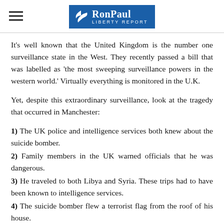Ron Paul Liberty Report
It's well known that the United Kingdom is the number one surveillance state in the West. They recently passed a bill that was labelled as 'the most sweeping surveillance powers in the western world.' Virtually everything is monitored in the U.K.
Yet, despite this extraordinary surveillance, look at the tragedy that occurred in Manchester:
1) The UK police and intelligence services both knew about the suicide bomber.
2) Family members in the UK warned officials that he was dangerous.
3) He traveled to both Libya and Syria. These trips had to have been known to intelligence services.
4) The suicide bomber flew a terrorist flag from the roof of his house.